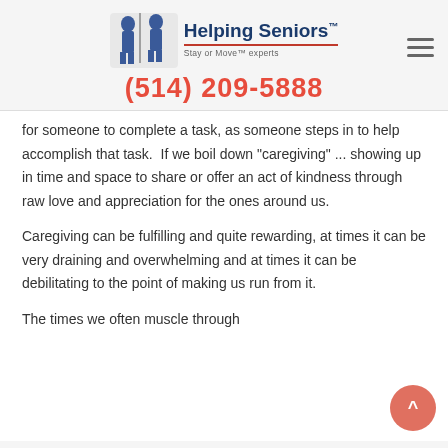[Figure (logo): Helping Seniors logo with two armored figures and text 'Helping Seniors Stay or Move Experts' with underline]
(514) 209-5888
for someone to complete a task, as someone steps in to help accomplish that task.  If we boil down "caregiving" ... showing up in time and space to share or offer an act of kindness through raw love and appreciation for the ones around us.
Caregiving can be fulfilling and quite rewarding, at times it can be very draining and overwhelming and at times it can be debilitating to the point of making us run from it.
The times we often muscle through